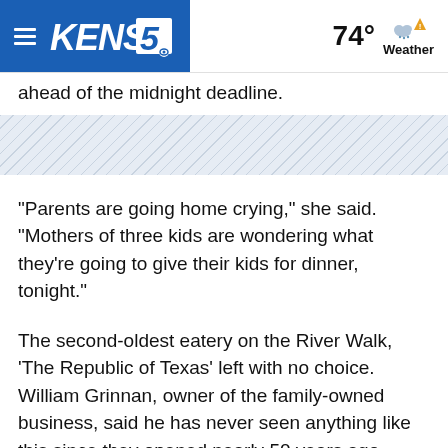KENS5 | 74° Weather
ahead of the midnight deadline.
"Parents are going home crying," she said. "Mothers of three kids are wondering what they're going to give their kids for dinner, tonight."
The second-oldest eatery on the River Walk, 'The Republic of Texas' left with no choice. William Grinnan, owner of the family-owned business, said he has never seen anything like this since they opened nearly 50 years ago.
"Economies get into this type of depression," he said. "You never think it is going to be in your backyard. But, today it